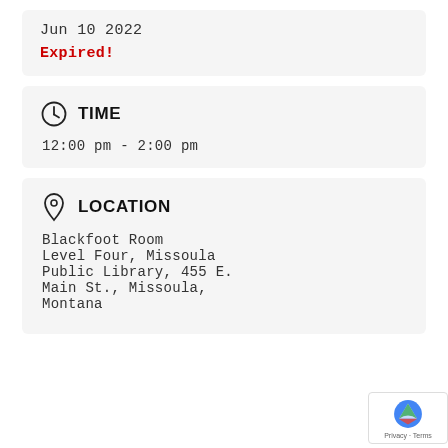Jun 10 2022
Expired!
TIME
12:00 pm - 2:00 pm
LOCATION
Blackfoot Room Level Four, Missoula Public Library, 455 E. Main St., Missoula, Montana